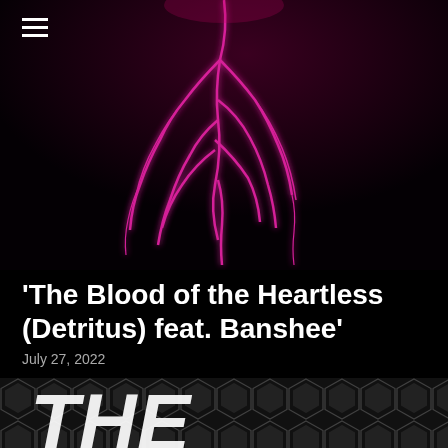[Figure (photo): Dark background with glowing pink/magenta lightning or electrical discharge branching downward, resembling roots or veins against a near-black dark red background]
'The Blood of the Heartless (Detritus) feat. Banshee'
July 27, 2022
[Figure (illustration): Bottom banner with hexagonal dark pattern background and large stylized white italic text 'THE' partially visible]